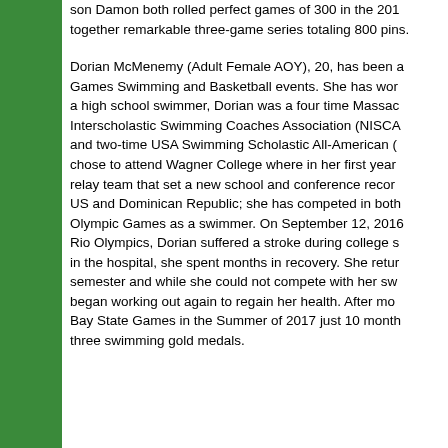son Damon both rolled perfect games of 300 in the 2017 together remarkable three-game series totaling 800 pins.
Dorian McMenemy (Adult Female AOY), 20, has been a Games Swimming and Basketball events. She has won a high school swimmer, Dorian was a four time Massachusetts Interscholastic Swimming Coaches Association (NISCA) and two-time USA Swimming Scholastic All-American. She chose to attend Wagner College where in her first year relay team that set a new school and conference record. US and Dominican Republic; she has competed in both Olympic Games as a swimmer. On September 12, 2016 Rio Olympics, Dorian suffered a stroke during college swimming in the hospital, she spent months in recovery. She returned semester and while she could not compete with her swim team began working out again to regain her health. After months Bay State Games in the Summer of 2017 just 10 months three swimming gold medals.